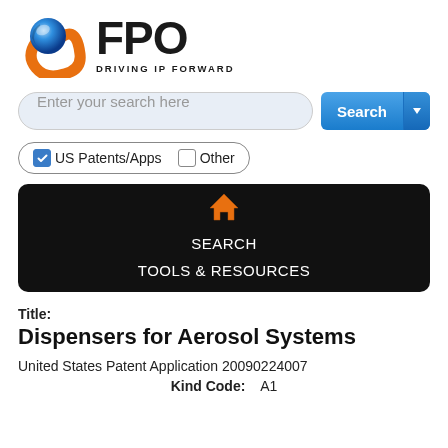[Figure (logo): FPO - Driving IP Forward logo with blue and orange circular icon and bold FPO text]
[Figure (screenshot): Search bar with placeholder text 'Enter your search here' and a blue Search button with dropdown arrow]
[Figure (screenshot): Checkbox pill with checked 'US Patents/Apps' and unchecked 'Other' checkboxes]
[Figure (screenshot): Black navigation bar with orange home icon, SEARCH link, and TOOLS & RESOURCES link]
Title:
Dispensers for Aerosol Systems
United States Patent Application 20090224007
Kind Code:    A1